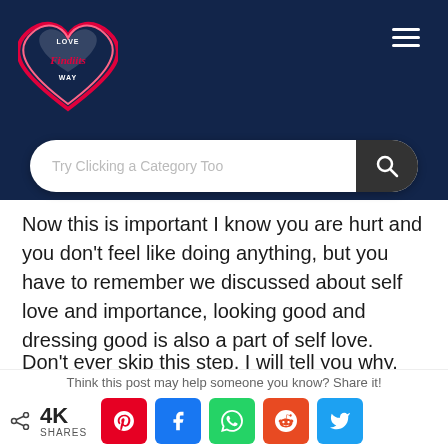[Figure (logo): Love Finds Its Way heart-shaped logo in red and pink on dark blue background]
[Figure (screenshot): Hamburger menu icon (three white horizontal lines) in top right corner]
[Figure (screenshot): Search bar with placeholder text 'Try Clicking a Category Too' and dark search button with magnifying glass icon]
Now this is important I know you are hurt and you don't feel like doing anything, but you have to remember we discussed about self love and importance, looking good and dressing good is also a part of self love.
Don't ever skip this step, I will tell you why.
Ask in your mind do you believe constantly
Think this post may help someone you know? Share it!
4K SHARES | Pinterest | Facebook | WhatsApp | Reddit | Twitter